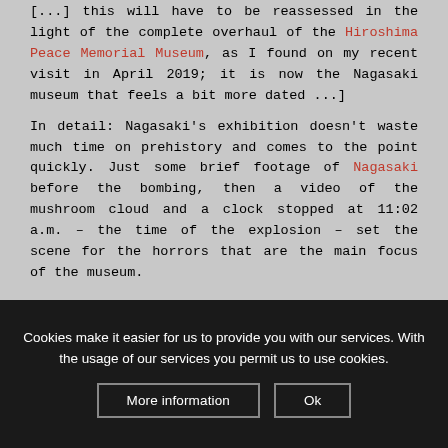[...] this will have to be reassessed in the light of the complete overhaul of the Hiroshima Peace Memorial Museum, as I found on my recent visit in April 2019; it is now the Nagasaki museum that feels a bit more dated ...]
In detail: Nagasaki's exhibition doesn't waste much time on prehistory and comes to the point quickly. Just some brief footage of Nagasaki before the bombing, then a video of the mushroom cloud and a clock stopped at 11:02 a.m. – the time of the explosion – set the scene for the horrors that are the main focus of the museum.
The first large exhibition room is structured around some very large scale artefacts. At the far end, a reconstruction of the front of Urakami Cathedral, partly shattered by the blast, dominates the
Cookies make it easier for us to provide you with our services. With the usage of our services you permit us to use cookies.
More information
Ok